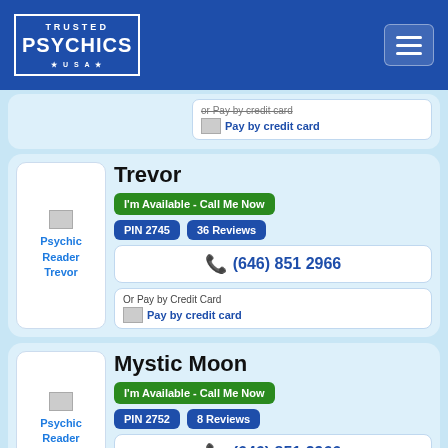[Figure (logo): Trusted Psychics USA logo in white on blue header background]
Or Pay by credit card
Pay by credit card
Trevor
Psychic Reader Trevor
I'm Available - Call Me Now
PIN 2745
36 Reviews
(646) 851 2966
Or Pay by Credit Card
Pay by credit card
Mystic Moon
Psychic Reader Mystic Moon
I'm Available - Call Me Now
PIN 2752
8 Reviews
(646) 851 2966
Or Pay by Credit Card
Pay by credit card